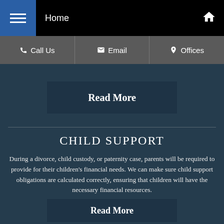Home
Call Us | Email | Offices
Read More
CHILD SUPPORT
During a divorce, child custody, or paternity case, parents will be required to provide for their children's financial needs. We can make sure child support obligations are calculated correctly, ensuring that children will have the necessary financial resources.
Read More